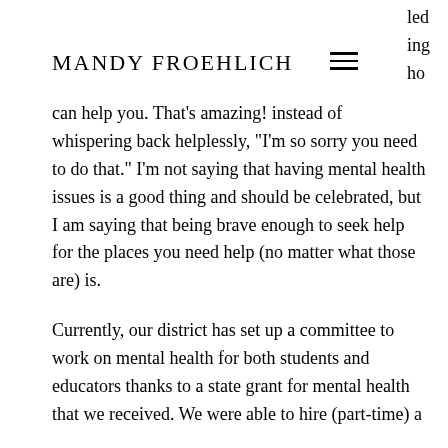MANDY FROEHLICH
can help you. That's amazing! instead of whispering back helplessly, "I'm so sorry you need to do that." I'm not saying that having mental health issues is a good thing and should be celebrated, but I am saying that being brave enough to seek help for the places you need help (no matter what those are) is.
Currently, our district has set up a committee to work on mental health for both students and educators thanks to a state grant for mental health that we received. We were able to hire (part-time) a